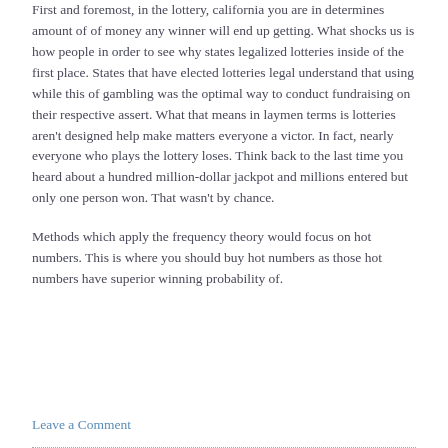First and foremost, in the lottery, california you are in determines amount of of money any winner will end up getting. What shocks us is how people in order to see why states legalized lotteries inside of the first place. States that have elected lotteries legal understand that using while this of gambling was the optimal way to conduct fundraising on their respective assert. What that means in laymen terms is lotteries aren't designed help make matters everyone a victor. In fact, nearly everyone who plays the lottery loses. Think back to the last time you heard about a hundred million-dollar jackpot and millions entered but only one person won. That wasn't by chance.
Methods which apply the frequency theory would focus on hot numbers. This is where you should buy hot numbers as those hot numbers have superior winning probability of.
Leave a Comment